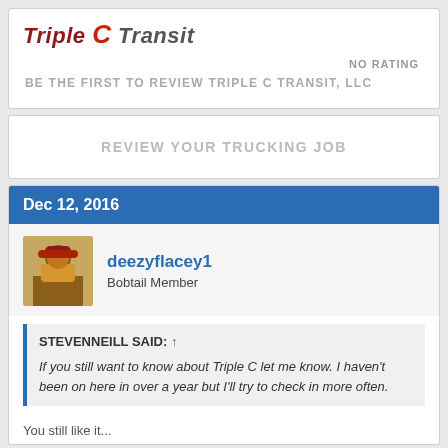[Figure (logo): Triple C Transit logo with stylized text]
NO RATING
BE THE FIRST TO REVIEW TRIPLE C TRANSIT, LLC
REVIEW YOUR TRUCKING JOB
Dec 12, 2016
deezyflacey1
Bobtail Member
STEVENNEILL SAID: ↑
If you still want to know about Triple C let me know. I haven't been on here in over a year but I'll try to check in more often.
You still like it...